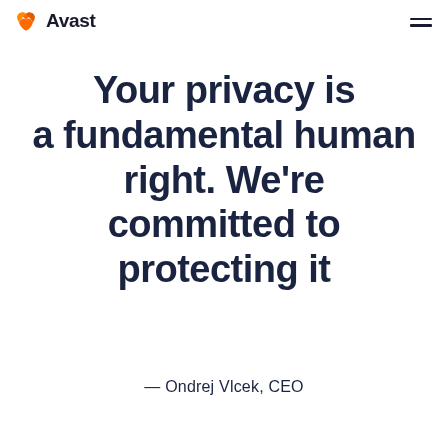Avast
Your privacy is a fundamental human right. We're committed to protecting it
— Ondrej Vlcek, CEO